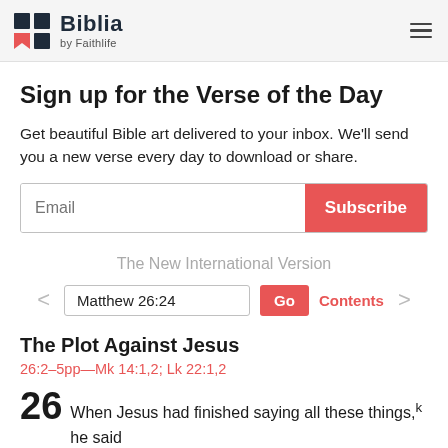Biblia by Faithlife
Sign up for the Verse of the Day
Get beautiful Bible art delivered to your inbox. We'll send you a new verse every day to download or share.
Email  Subscribe
The New International Version
< Matthew 26:24  Go  Contents  >
The Plot Against Jesus
26:2–5pp—Mk 14:1,2; Lk 22:1,2
26 When Jesus had finished saying all these things, he said